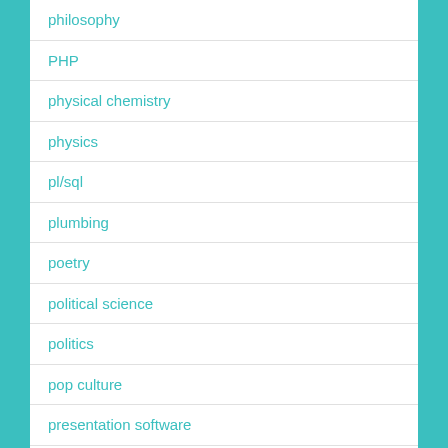philosophy
PHP
physical chemistry
physics
pl/sql
plumbing
poetry
political science
politics
pop culture
presentation software
probability